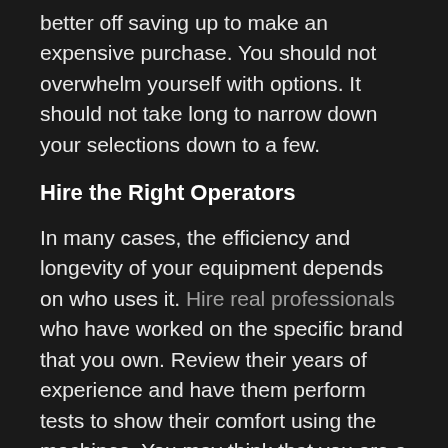better off saving up to make an expensive purchase. You should not overwhelm yourself with options. It should not take long to narrow down your selections down to a few.
Hire the Right Operators
In many cases, the efficiency and longevity of your equipment depends on who uses it. Hire real professionals who have worked on the specific brand that you own. Review their years of experience and have them perform tests to show their comfort using the machines. You may think that you are a fast learner, but there is always someone better qualified for the job. You want someone who will respect your investments and work around obstacles like machine breakdowns.
Getting your hands on the best business